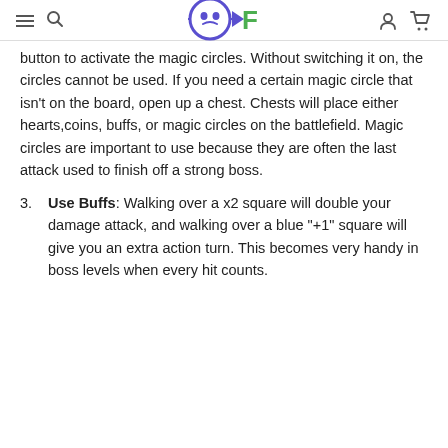OKF logo with hamburger, search, account, and cart icons
button to activate the magic circles. Without switching it on, the circles cannot be used. If you need a certain magic circle that isn't on the board, open up a chest. Chests will place either hearts,coins, buffs, or magic circles on the battlefield. Magic circles are important to use because they are often the last attack used to finish off a strong boss.
Use Buffs: Walking over a x2 square will double your damage attack, and walking over a blue "+1" square will give you an extra action turn. This becomes very handy in boss levels when every hit counts.